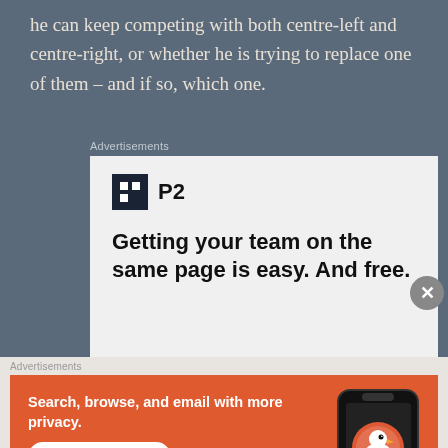he can keep competing with both centre-left and centre-right, or whether he is trying to replace one of them – and if so, which one.
Advertisements
[Figure (infographic): P2 advertisement with logo and tagline: Getting your team on the same page is easy. And free.]
Advertisements
[Figure (infographic): DuckDuckGo advertisement: Search, browse, and email with more privacy. All in One Free App.]